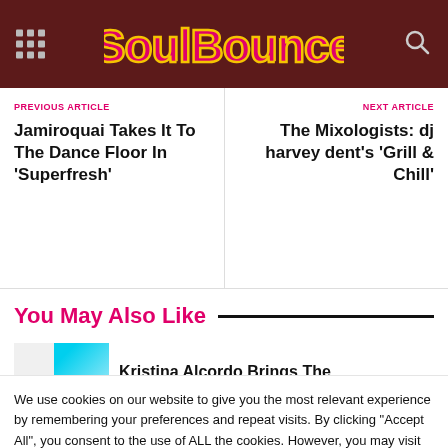[Figure (logo): SoulBounce website logo in pink/magenta stylized text with gold outline on dark red/brown background]
PREVIOUS ARTICLE
Jamiroquai Takes It To The Dance Floor In ‘Superfresh’
NEXT ARTICLE
The Mixologists: dj harvey dent’s ‘Grill & Chill’
You May Also Like
Kristina Alcordo Brings The
We use cookies on our website to give you the most relevant experience by remembering your preferences and repeat visits. By clicking “Accept All”, you consent to the use of ALL the cookies. However, you may visit "Cookie Settings" to provide a controlled consent.